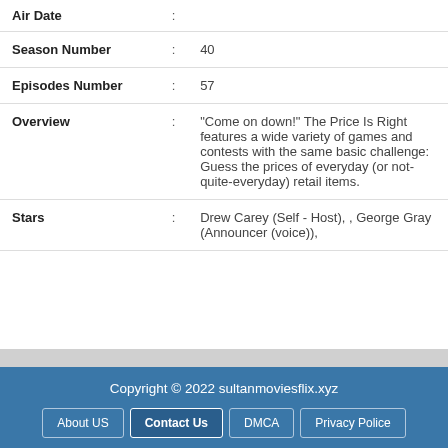| Field | : | Value |
| --- | --- | --- |
| Air Date | : |  |
| Season Number | : | 40 |
| Episodes Number | : | 57 |
| Overview | : | "Come on down!" The Price Is Right features a wide variety of games and contests with the same basic challenge: Guess the prices of everyday (or not-quite-everyday) retail items. |
| Stars | : | Drew Carey (Self - Host), , George Gray (Announcer (voice)), |
Copyright © 2022 sultanmoviesflix.xyz | About US | Contact Us | DMCA | Privacy Police